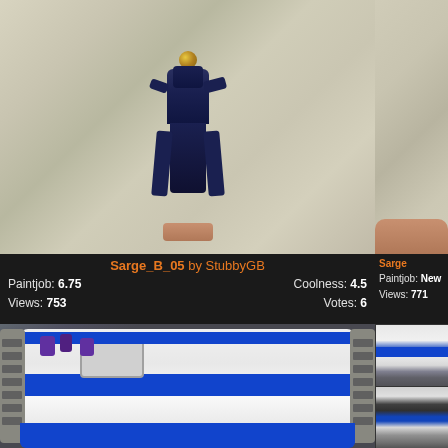[Figure (photo): Painted Warhammer 40K Space Marine miniature figure (Sarge_B_05) held against a white rocky background, painted in dark blue and bronze colors]
[Figure (photo): Partial view of another miniature figure against similar rocky background, cropped on right edge]
Sarge_B_05 by StubbyGB
Paintjob: 6.75   Coolness: 4.5   Views: 753   Votes: 6
Sarge
Paintjob: New   Views: 771
[Figure (photo): Top-down view of a large Warhammer 40K Space Marine vehicle/tank painted white and blue with multiple crew figures]
[Figure (photo): Side view of a white and blue Space Marine tank miniature]
[Figure (photo): Another angle of a white and blue Space Marine tank miniature]